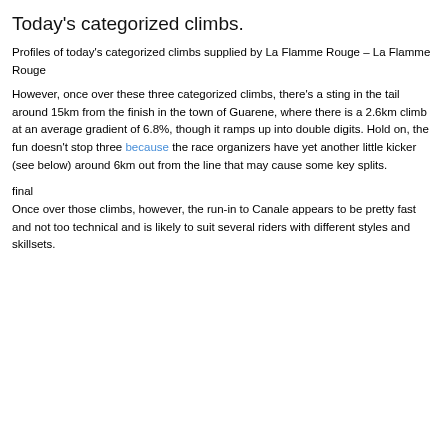faston who are not averse to climbing. It may also provide opportunists the chance of an ambush, so those with hopes of challenging the general classification will have to be on guard.
Today's categorized climbs.
Profiles of today's categorized climbs supplied by La Flamme Rouge – La Flamme Rouge
However, once over these three categorized climbs, there's a sting in the tail around 15km from the finish in the town of Guarene, where there is a 2.6km climb at an average gradient of 6.8%, though it ramps up into double digits. Hold on, the fun doesn't stop three because the race organizers have yet another little kicker (see below) around 6km out from the line that may cause some key splits.
final
Once over those climbs, however, the run-in to Canale appears to be pretty fast and not too technical and is likely to suit several riders with different styles and skillsets.